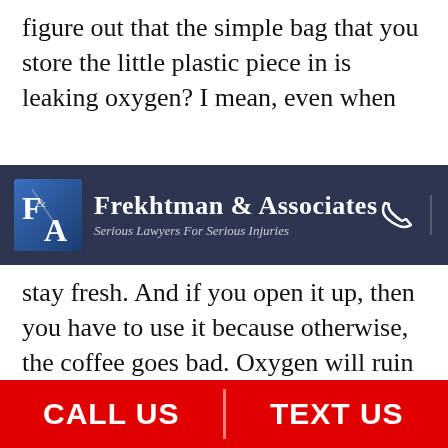figure out that the simple bag that you store the little plastic piece in is leaking oxygen? I mean, even when
[Figure (logo): Frekhtman & Associates law firm logo with navigation bar. Dark navy background with F&A logo icon, firm name 'Frekhtman & Associates', tagline 'Serious Lawyers For Serious Injuries', phone icon, and hamburger menu icon.]
stay fresh. And if you open it up, then you have to use it because otherwise, the coffee goes bad. Oxygen will ruin a lot of different things, just like salt water will ruin the boats and pieces. Oxidation is very dangerous and you definitely don't want that happening inside a human body. That's just beyond horrific.
CALL US | TEXT US